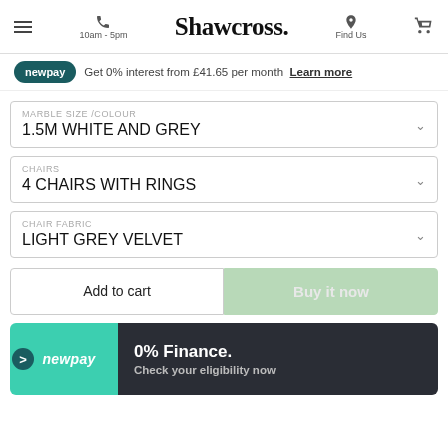Shawcross. 10am - 5pm Find Us
Get 0% interest from £41.65 per month Learn more
MARBLE SIZE /COLOUR
1.5M WHITE AND GREY
CHAIRS
4 CHAIRS WITH RINGS
CHAIR FABRIC
LIGHT GREY VELVET
Add to cart
Buy it now
0% Finance.
Check your eligibility now